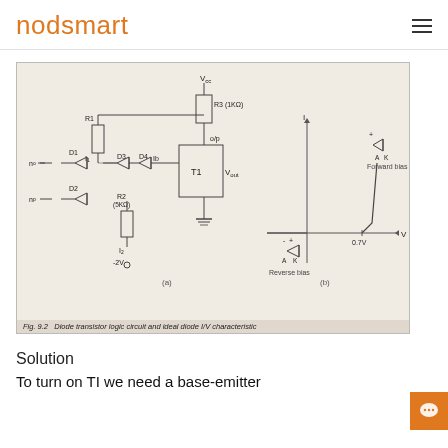nodsmart
[Figure (circuit-diagram): Diode transistor logic circuit and ideal diode I/V characteristic. Left sub-figure (a) shows a circuit with components R1, D1, D2, D3, D4, R2 (5kΩ), R3 (1kΩ), transistor T1, supply voltages Vcc and -2V, output Vout. Right sub-figure (b) shows ideal diode I-V characteristic curve with forward bias at 0.7V and reverse bias region, with diode symbol labeled A and K.]
Fig. 9.2  Diode transistor logic circuit and ideal diode I/V characteristic
Solution
To turn on TI we need a base-emitter